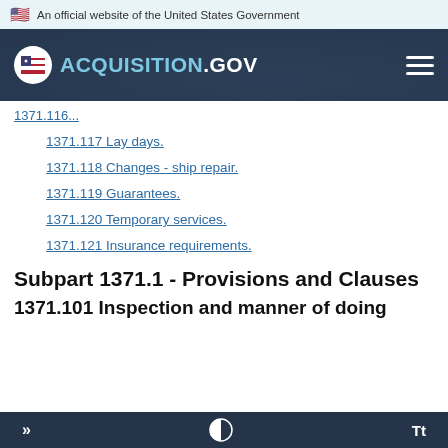An official website of the United States Government
[Figure (logo): ACQUISITION.GOV website header logo with navigation hamburger menu on a dark navy background]
1371.117 Lay days.
1371.118 Changes - ship repair.
1371.119 Guarantees.
1371.120 Temporary services.
1371.121 Insurance requirements.
Subpart 1371.1  - Provisions and Clauses
1371.101  Inspection and manner of doing
» | contrast toggle | Tt